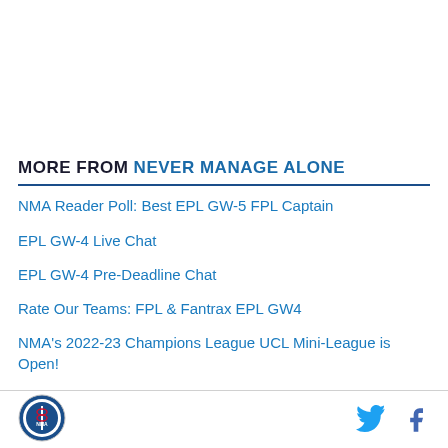MORE FROM NEVER MANAGE ALONE
NMA Reader Poll: Best EPL GW-5 FPL Captain
EPL GW-4 Live Chat
EPL GW-4 Pre-Deadline Chat
Rate Our Teams: FPL & Fantrax EPL GW4
NMA's 2022-23 Champions League UCL Mini-League is Open!
Logo | Twitter | Facebook